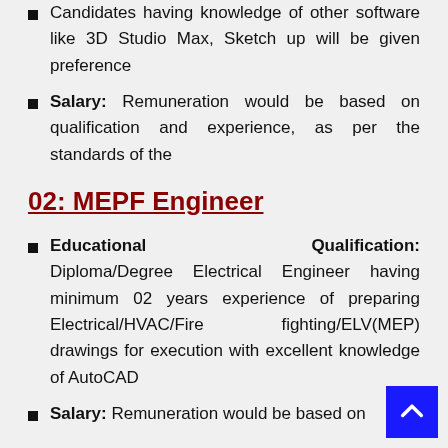Candidates having knowledge of other software like 3D Studio Max, Sketch up will be given preference
Salary: Remuneration would be based on qualification and experience, as per the standards of the
02: MEPF Engineer
Educational Qualification: Diploma/Degree Electrical Engineer having minimum 02 years experience of preparing Electrical/HVAC/Fire fighting/ELV(MEP) drawings for execution with excellent knowledge of AutoCAD
Salary: Remuneration would be based on